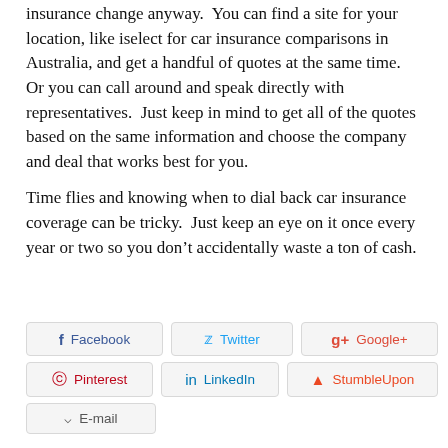insurance change anyway.  You can find a site for your location, like iselect for car insurance comparisons in Australia, and get a handful of quotes at the same time.  Or you can call around and speak directly with representatives.  Just keep in mind to get all of the quotes based on the same information and choose the company and deal that works best for you.
Time flies and knowing when to dial back car insurance coverage can be tricky.  Just keep an eye on it once every year or two so you don't accidentally waste a ton of cash.
[Figure (infographic): Social sharing buttons: Facebook, Twitter, Google+, Pinterest, LinkedIn, StumbleUpon, E-mail]